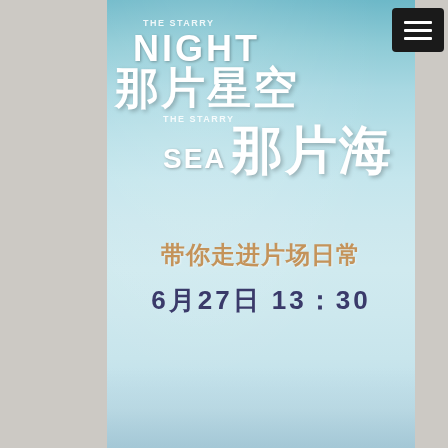[Figure (illustration): Movie/drama promotional poster for 'The Starry Night The Starry Sea' (那片星空那片海). Light blue gradient background resembling sky and sea. Large white Chinese characters '那片星空' (That Starry Sky) and '那片海' (That Sea) with smaller English text 'THE STARRY NIGHT' and 'THE STARRY SEA'. Below in golden-brown Chinese characters '带你走进片场日常' and bold dark blue '6月27日 13:30'. A hamburger menu icon appears in the top right corner.]